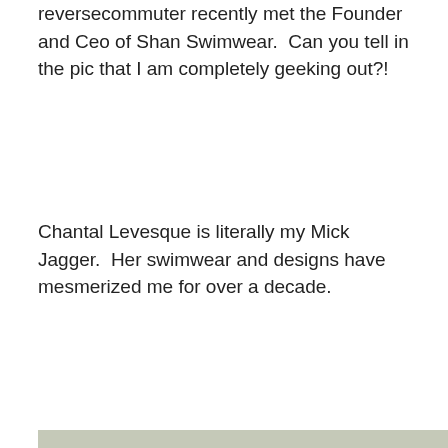reversecommuter recently met the Founder and Ceo of Shan Swimwear.  Can you tell in the pic that I am completely geeking out?!
Chantal Levesque is literally my Mick Jagger.  Her swimwear and designs have mesmerized me for over a decade.
[Figure (photo): A woman with long blonde hair sits on a sandy beach with her back to the camera, facing ocean waves. In the lower right corner there is a small white sticker/card with an arrow and a high heel shoe illustration.]